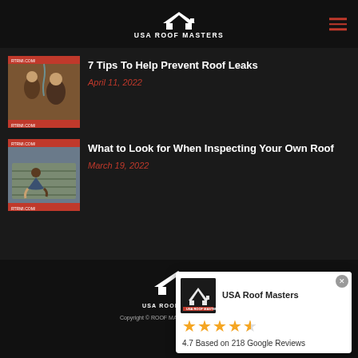[Figure (logo): USA Roof Masters logo in white on dark header with hamburger menu icon]
[Figure (photo): Thumbnail photo of people reacting to indoor water leak from ceiling]
7 Tips To Help Prevent Roof Leaks
April 11, 2022
[Figure (photo): Thumbnail photo of person inspecting roof shingles]
What to Look for When Inspecting Your Own Roof
March 19, 2022
[Figure (logo): USA Roof Masters footer logo in white]
Copyright © ROOF MASTERS | Marketing De...
[Figure (infographic): Google Reviews popup showing USA Roof Masters with 4.7 stars based on 218 Google Reviews]